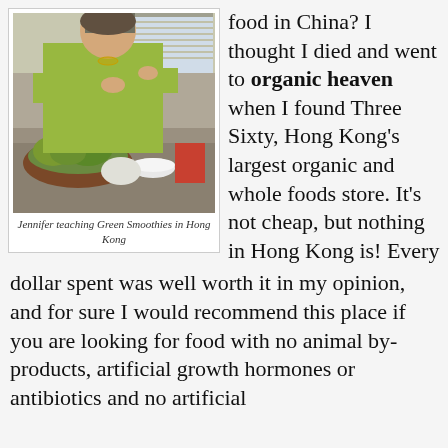[Figure (photo): Woman in green top using a blender at a counter with fresh vegetables including lettuce in the foreground, indoor kitchen/office setting]
Jennifer teaching Green Smoothies in Hong Kong
food in China? I thought I died and went to organic heaven when I found Three Sixty, Hong Kong's largest organic and whole foods store. It's not cheap, but nothing in Hong Kong is! Every dollar spent was well worth it in my opinion, and for sure I would recommend this place if you are looking for food with no animal by-products, artificial growth hormones or antibiotics and no artificial